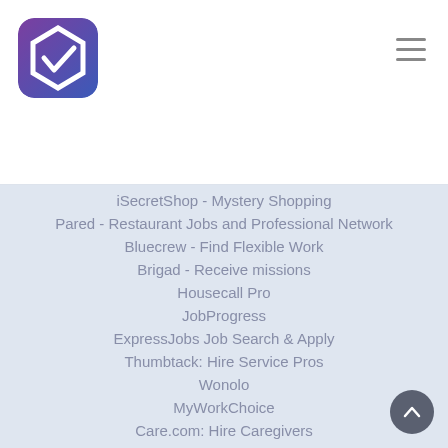[Figure (logo): App logo with white hexagon and checkmark on purple-to-blue gradient background]
iSecretShop - Mystery Shopping
Pared - Restaurant Jobs and Professional Network
Bluecrew - Find Flexible Work
Brigad - Receive missions
Housecall Pro
JobProgress
ExpressJobs Job Search & Apply
Thumbtack: Hire Service Pros
Wonolo
MyWorkChoice
Care.com: Hire Caregivers
SkillsTrader